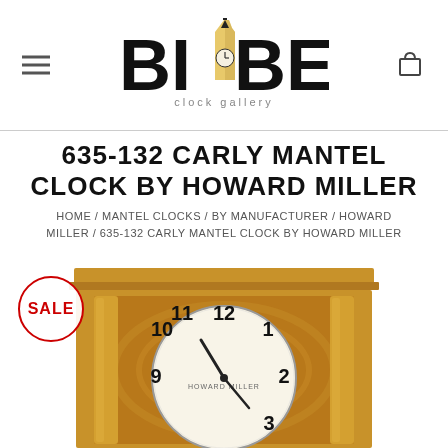[Figure (logo): Big Ben Clock Gallery logo with stylized clock tower icon and text BIGBEN clock gallery]
635-132 CARLY MANTEL CLOCK BY HOWARD MILLER
HOME / MANTEL CLOCKS / BY MANUFACTURER / HOWARD MILLER / 635-132 CARLY MANTEL CLOCK BY HOWARD MILLER
[Figure (photo): Howard Miller 635-132 Carly Mantel Clock, wooden cabinet in golden oak finish with decorative columns, round white dial showing Arabic numerals, SALE badge overlay]